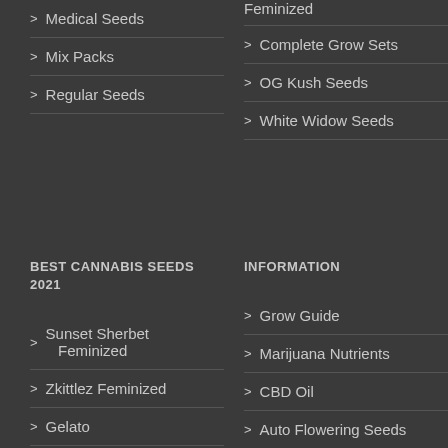Feminized
Medical Seeds
Mix Packs
Regular Seeds
Complete Grow Sets
OG Kush Seeds
White Widow Seeds
BEST CANNABIS SEEDS 2021
INFORMATION
Sunset Sherbet Feminized
Zkittlez Feminized
Gelato
Grow Guide
Marijuana Nutrients
CBD Oil
Auto Flowering Seeds